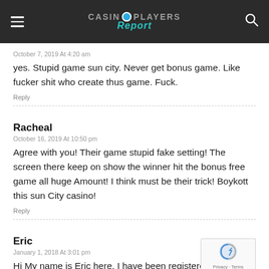Casino Players Report
October 7, 2019 At 4:20 am
yes. Stupid game sun city. Never get bonus game. Like fucker shit who create thus game. Fuck.
Reply
Racheal
October 16, 2019 At 10:50 pm
Agree with you! Their game stupid fake setting! The screen there keep on show the winner hit the bonus free game all huge Amount! I think must be their trick! Boykott this sun City casino!
Reply
Eric
January 1, 2018 At 3:01 pm
Hi My name is Eric here. I have been registered